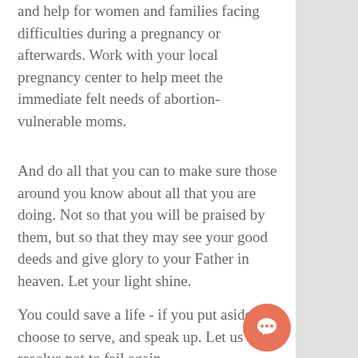and help for women and families facing difficulties during a pregnancy or afterwards. Work with your local pregnancy center to help meet the immediate felt needs of abortion-vulnerable moms.
And do all that you can to make sure those around you know about all that you are doing. Not so that you will be praised by them, but so that they may see your good deeds and give glory to your Father in heaven. Let your light shine.
You could save a life - if you put aside sin, choose to serve, and speak up. Let us resolve not to fail again.